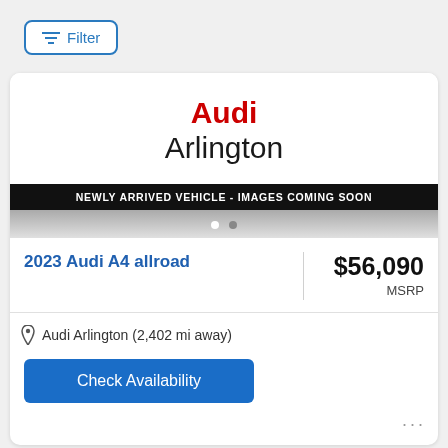[Figure (other): Filter button with horizontal lines icon and blue border]
[Figure (logo): Audi Arlington dealer logo with red 'Audi' text and black 'Arlington' text]
NEWLY ARRIVED VEHICLE - IMAGES COMING SOON
2023 Audi A4 allroad
$56,090 MSRP
Audi Arlington (2,402 mi away)
Check Availability
[Figure (photo): Partial view of a dark-colored car at the bottom of the page]